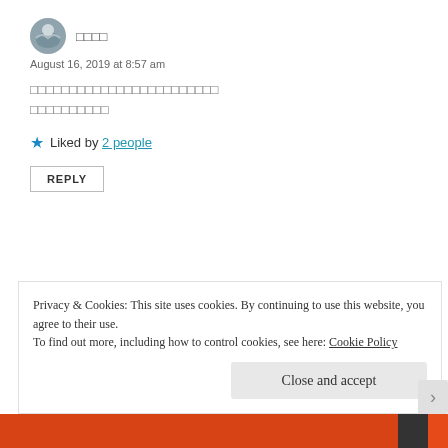[Figure (illustration): Circular avatar with wave/ocean illustration (Hokusai-style)]
□□□□
August 16, 2019 at 8:57 am
□□□□□□□□□□□□□□□□□□□□□□□□□□□□□□□□□□□□□□□□□□□□□□
Liked by 2 people
REPLY
[Figure (illustration): Circular dark avatar with person silhouette]
Watt
August 16, 2019 at 8:32 pm
Privacy & Cookies: This site uses cookies. By continuing to use this website, you agree to their use.
To find out more, including how to control cookies, see here: Cookie Policy
Close and accept